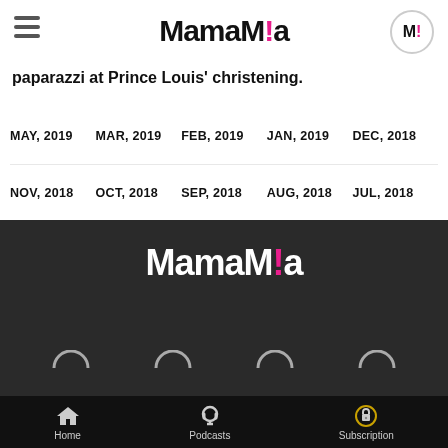MamaMia
paparazzi at Prince Louis' christening.
MAY, 2019   MAR, 2019   FEB, 2019   JAN, 2019   DEC, 2018
NOV, 2018   OCT, 2018   SEP, 2018   AUG, 2018   JUL, 2018
JUN, 2018   MAY, 2018   APR, 2018   MAR, 2018   JAN, 2018
OCT, 2017   SEP, 2017   JUL, 2017   MAY, 2017   APR, 2017
DEC, 2016   NOV, 2016   JUN, 2016   MAY, 2016   JAN, 2016
MAY, 2015
[Figure (logo): MamaMia logo in white on dark footer background]
Home   Podcasts   Subscription